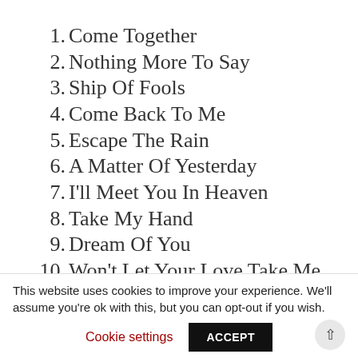1. Come Together
2. Nothing More To Say
3. Ship Of Fools
4. Come Back To Me
5. Escape The Rain
6. A Matter Of Yesterday
7. I'll Meet You In Heaven
8. Take My Hand
9. Dream Of You
10. Won't Let Your Love Take Me Down
11. Rise From The Fire
This website uses cookies to improve your experience. We'll assume you're ok with this, but you can opt-out if you wish.
Cookie settings  ACCEPT